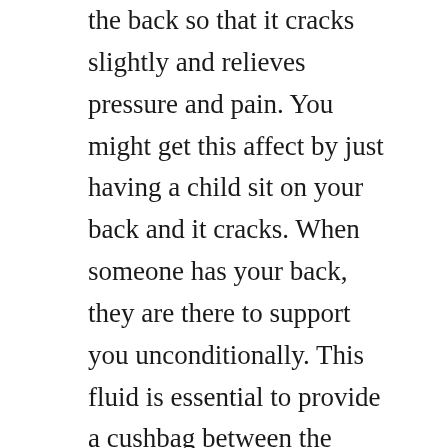the back so that it cracks slightly and relieves pressure and pain. You might get this affect by just having a child sit on your back and it cracks. When someone has your back, they are there to support you unconditionally. This fluid is essential to provide a cushbag between the joints, tissues, bones, cartilage, and joints. Doctors give trusted, helpful answers on causes, diagnosis, symptoms, treatment, and more.
How to crack someones back and relieve painful pressure. While having a professional crack your back is best, cracking your own